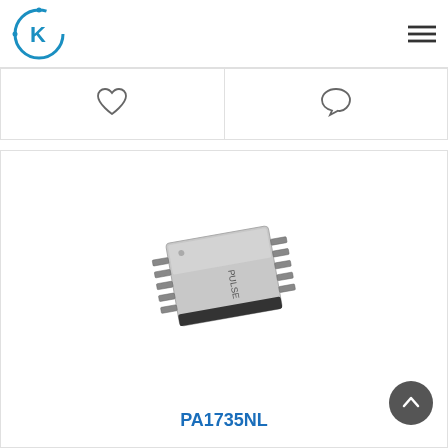[Figure (logo): Circular blue K logo for company brand]
[Figure (other): Hamburger menu icon (three horizontal lines)]
[Figure (other): Heart/like icon outline]
[Figure (other): Speech bubble/comment icon outline]
[Figure (photo): Photo of a PULSE branded PA1735NL electronic component — a surface-mount transformer/inductor module in a gray metallic housing with multiple leads on sides, viewed at a slight angle]
PA1735NL